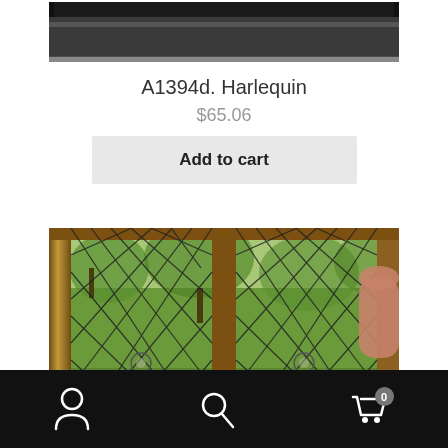[Figure (photo): Top partial view of a dark/black rectangular item (likely a window or panel) on a light surface — only bottom portion visible]
A1394d. Harlequin
$65.06
Add to cart
[Figure (photo): Two diamond-patterned leaded glass windows in wooden frames, held up outdoors with trees visible in background. A hand/arm is partially visible at the right edge. Watermark text visible at bottom.]
Person icon | Search icon | Cart icon with badge 0